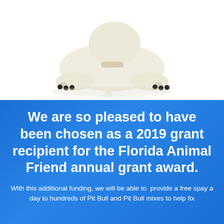[Figure (photo): A white/cream colored puppy or dog lying down with paws extended forward, viewed from the front, on a white background with a slight reflection underneath]
We are so pleased to have been chosen as a 2019 grant recipient for the Florida Animal Friend annual grant award.
With this additional funding, we will be able to provide a free spay a day to hundreds of Pit Bull and Pit Bull mixes to help fix the problem of overpopulation.